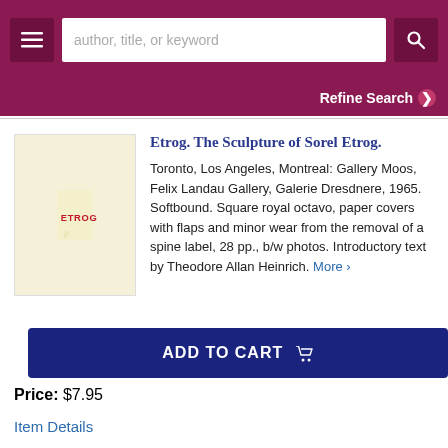author, title, or keyword [search bar] | Refine Search
[Figure (photo): Book cover of 'Etrog. The Sculpture of Sorel Etrog.' - cream/pale yellow cover with red block letters spelling ETROG]
Etrog. The Sculpture of Sorel Etrog.
Toronto, Los Angeles, Montreal: Gallery Moos, Felix Landau Gallery, Galerie Dresdnere, 1965. Softbound. Square royal octavo, paper covers with flaps and minor wear from the removal of a spine label, 28 pp., b/w photos. Introductory text by Theodore Allan Heinrich. More >
ADD TO CART
Price: $7.95
Item Details